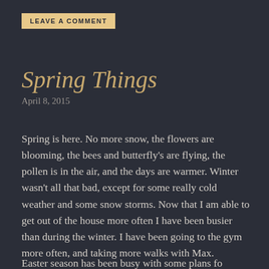LEAVE A COMMENT
Spring Things
April 8, 2015
Spring is here. No more snow, the flowers are blooming, the bees and butterfly's are flying, the pollen is in the air, and the days are warmer. Winter wasn't all that bad, except for some really cold weather and some snow storms. Now that I am able to get out of the house more often I have been busier than during the winter. I have been going to the gym more often, and taking more walks with Max.
Easter season has been busy with...